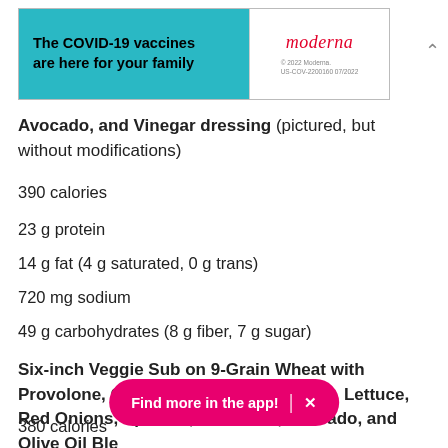[Figure (screenshot): Moderna COVID-19 vaccine advertisement banner: teal left side with bold text 'The COVID-19 vaccines are here for your family', white right side with Moderna logo in red italic and fine print '© 2022 Moderna. US-COV-2200160 07/2022']
Avocado, and Vinegar dressing (pictured, but without modifications)
390 calories
23 g protein
14 g fat (4 g saturated, 0 g trans)
720 mg sodium
49 g carbohydrates (8 g fiber, 7 g sugar)
Six-inch Veggie Sub on 9-Grain Wheat with Provolone, Cucumbers, Green Peppers, Lettuce, Red Onions, Spinach, Tomatoes, Avocado, and Olive Oil Ble
380 calories
[Figure (screenshot): Pink pill-shaped overlay button with text 'Find more in the app!' and an X close button]